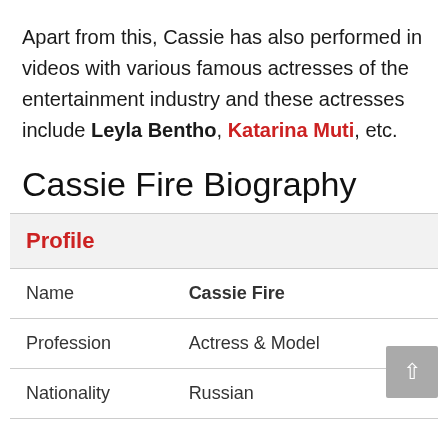Apart from this, Cassie has also performed in videos with various famous actresses of the entertainment industry and these actresses include Leyla Bentho, Katarina Muti, etc.
Cassie Fire Biography
|  |  |
| --- | --- |
| Profile |  |
| Name | Cassie Fire |
| Profession | Actress & Model |
| Nationality | Russian |